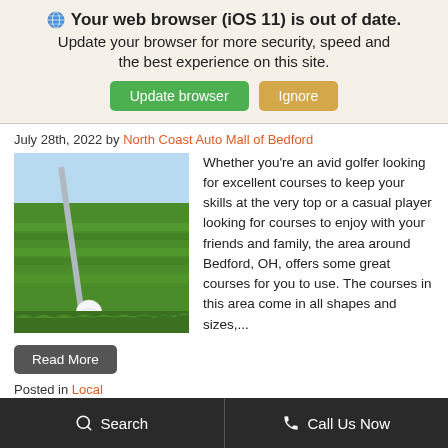🌐 Your web browser (iOS 11) is out of date. Update your browser for more security, speed and the best experience on this site. [Update browser] [Ignore]
July 28th, 2022 by North Coast Auto Mall of Bedford
[Figure (photo): A golf club iron next to a white golf ball on green grass]
Whether you're an avid golfer looking for excellent courses to keep your skills at the very top or a casual player looking for courses to enjoy with your friends and family, the area around Bedford, OH, offers some great courses for you to use. The courses in this area come in all shapes and sizes,...
Read More
Posted in Local
Search   Call Us Now